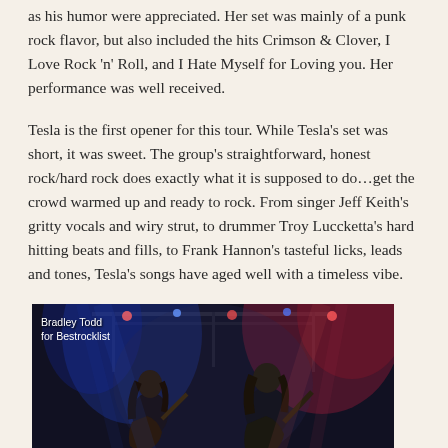as his humor were appreciated. Her set was mainly of a punk rock flavor, but also included the hits Crimson & Clover, I Love Rock 'n' Roll, and I Hate Myself for Loving you. Her performance was well received.
Tesla is the first opener for this tour. While Tesla's set was short, it was sweet. The group's straightforward, honest rock/hard rock does exactly what it is supposed to do…get the crowd warmed up and ready to rock. From singer Jeff Keith's gritty vocals and wiry strut, to drummer Troy Luccketta's hard hitting beats and fills, to Frank Hannon's tasteful licks, leads and tones, Tesla's songs have aged well with a timeless vibe.
[Figure (photo): Concert photo of two guitarists on stage under blue and red stage lighting, with caption 'Bradley Todd for Bestrocklist']